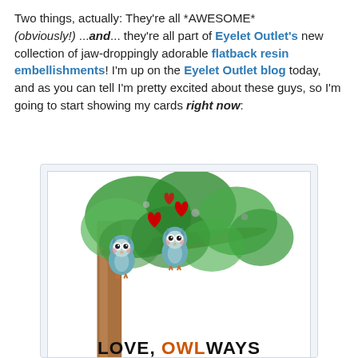Two things, actually: They're all *AWESOME* (obviously!) ...and... they're all part of Eyelet Outlet's new collection of jaw-droppingly adorable flatback resin embellishments! I'm up on the Eyelet Outlet blog today, and as you can tell I'm pretty excited about these guys, so I'm going to start showing my cards right now:
[Figure (photo): A handmade greeting card featuring two cute teal owls sitting on a tree branch with red hearts floating above them, surrounded by green foliage. The card has text at the bottom reading 'LOVE, OWLWAYS'.]